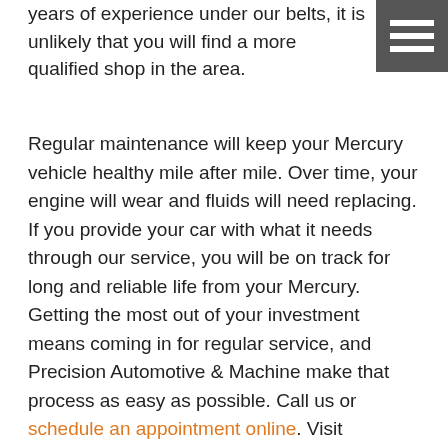years of experience under our belts, it is unlikely that you will find a more qualified shop in the area.
[Figure (other): Hamburger menu icon — three white horizontal bars on dark grey square background]
Regular maintenance will keep your Mercury vehicle healthy mile after mile. Over time, your engine will wear and fluids will need replacing. If you provide your car with what it needs through our service, you will be on track for long and reliable life from your Mercury. Getting the most out of your investment means coming in for regular service, and Precision Automotive & Machine make that process as easy as possible. Call us or schedule an appointment online. Visit Precision Automotive & Machine shop at  1890 SW 18th Ave, Ontario, OR, 97914. Come in today and find out what you have been missing!